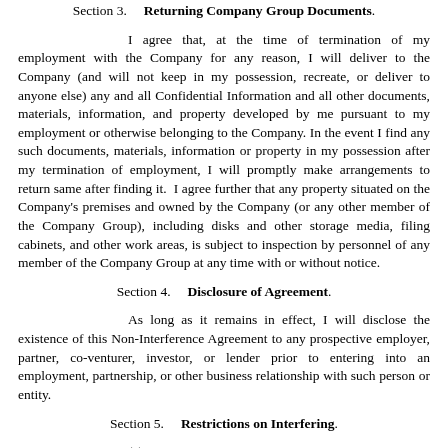Section 3.     Returning Company Group Documents.
I agree that, at the time of termination of my employment with the Company for any reason, I will deliver to the Company (and will not keep in my possession, recreate, or deliver to anyone else) any and all Confidential Information and all other documents, materials, information, and property developed by me pursuant to my employment or otherwise belonging to the Company. In the event I find any such documents, materials, information or property in my possession after my termination of employment, I will promptly make arrangements to return same after finding it.  I agree further that any property situated on the Company's premises and owned by the Company (or any other member of the Company Group), including disks and other storage media, filing cabinets, and other work areas, is subject to inspection by personnel of any member of the Company Group at any time with or without notice.
Section 4.     Disclosure of Agreement.
As long as it remains in effect, I will disclose the existence of this Non-Interference Agreement to any prospective employer, partner, co-venturer, investor, or lender prior to entering into an employment, partnership, or other business relationship with such person or entity.
Section 5.     Restrictions on Interfering.
(a)